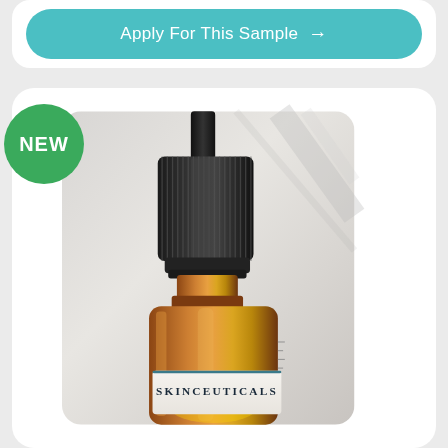[Figure (screenshot): App UI card with teal 'Apply For This Sample' button with arrow]
[Figure (photo): SkinCeuticals amber dropper bottle product photo with 'NEW' green badge overlay. Close-up of dropper bottle top with black ribbed cap on white/grey background. Label reads SKINCEUTICALS.]